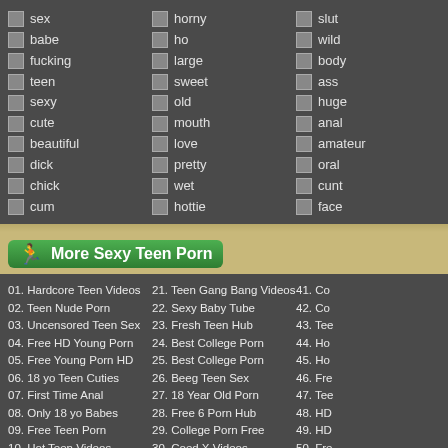sex, babe, fucking, teen, sexy, cute, beautiful, dick, chick, cum
horny, ho, large, sweet, old, mouth, love, pretty, wet, hottie
slut, wild, body, ass, huge, anal, amateur, oral, cunt, face
More Sexy Teen Porn
01. Hardcore Teen Videos
02. Teen Nude Porn
03. Uncensored Teen Sex
04. Free HD Young Porn
05. Free Young Porn HD
06. 18 yo Teen Cuties
07. First Time Anal
08. Only 18 yo Babes
09. Free Teen Porn
10. Hot Teen Videos
11. Free Young Sex Tube
12. Free Young Porn TV
21. Teen Gang Bang Videos
22. Sexy Baby Tube
23. Fresh Teen Hub
24. Best College Porn
25. Best College Porn
26. Beeg Teen Sex
27. 18 Year Old Porn
28. Free 6 Porn Hub
29. College Porn Free
30. Coed X Videos
31. College Sex Party
32. Coed Movies
41. Co...
42. Co...
43. Tee...
44. Ho...
45. Ho...
46. Fre...
47. Tee...
48. HD...
49. HD...
50. Fre...
Movies...
51. HD...